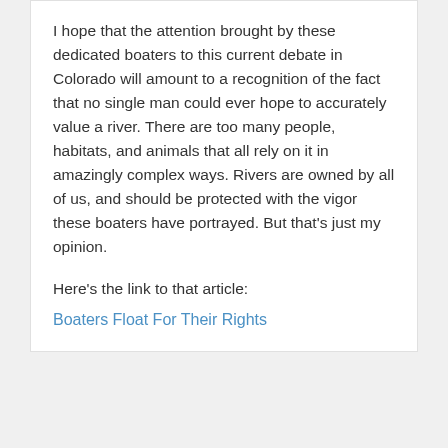I hope that the attention brought by these dedicated boaters to this current debate in Colorado will amount to a recognition of the fact that no single man could ever hope to accurately value a river. There are too many people, habitats, and animals that all rely on it in amazingly complex ways. Rivers are owned by all of us, and should be protected with the vigor these boaters have portrayed. But that's just my opinion.
Here's the link to that article:
Boaters Float For Their Rights
Back to Top
Helpful Links